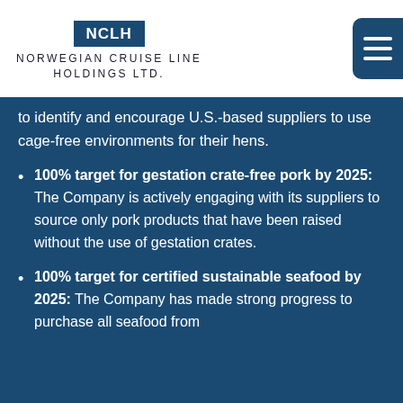[Figure (logo): Norwegian Cruise Line Holdings Ltd. logo with NCLH box and company name]
to identify and encourage U.S.-based suppliers to use cage-free environments for their hens.
100% target for gestation crate-free pork by 2025: The Company is actively engaging with its suppliers to source only pork products that have been raised without the use of gestation crates.
100% target for certified sustainable seafood by 2025: The Company has made strong progress to purchase all seafood from